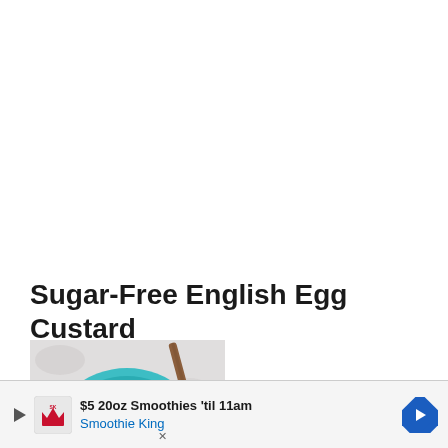Sugar-Free English Egg Custard
[Figure (photo): A blue bowl filled with yellow egg custard topped with reddish-brown cinnamon or spice sprinkled on top, viewed from above on a light surface with a cinnamon stick visible in the background.]
$5 20oz Smoothies 'til 11am
Smoothie King